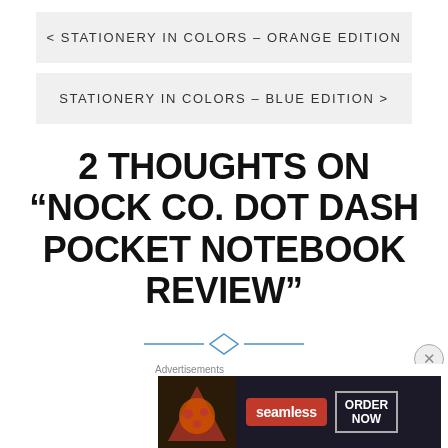< STATIONERY IN COLORS – ORANGE EDITION
STATIONERY IN COLORS – BLUE EDITION >
2 THOUGHTS ON “NOCK CO. DOT DASH POCKET NOTEBOOK REVIEW”
Pingback: Link Love: Newsy bits | The Well-
[Figure (other): Advertisement banner for Seamless food delivery showing pizza image, Seamless logo and ORDER NOW button]
Advertisements